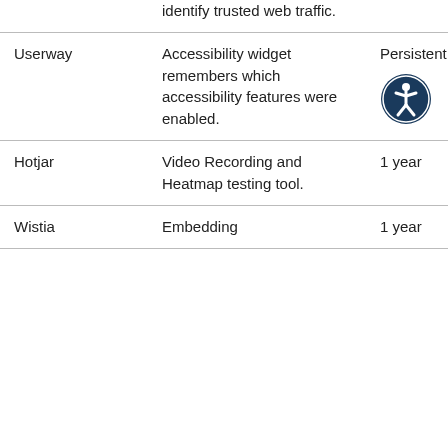|  | identify trusted web traffic. |  |
| Userway | Accessibility widget remembers which accessibility features were enabled. | Persistent |
| Hotjar | Video Recording and Heatmap testing tool. | 1 year |
| Wistia | Embedding | 1 year |